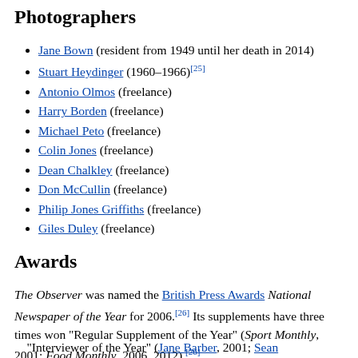Photographers
Jane Bown (resident from 1949 until her death in 2014)
Stuart Heydinger (1960–1966)[25]
Antonio Olmos (freelance)
Harry Borden (freelance)
Michael Peto (freelance)
Colin Jones (freelance)
Dean Chalkley (freelance)
Don McCullin (freelance)
Philip Jones Griffiths (freelance)
Giles Duley (freelance)
Awards
The Observer was named the British Press Awards National Newspaper of the Year for 2006.[26] Its supplements have three times won "Regular Supplement of the Year" (Sport Monthly, 2001; Food Monthly, 2006, 2012).[26]
Observer journalists have won a range of British Press Awards, including[26]
"Interviewer of the Year" (Jane Barber, 2001; Sean...